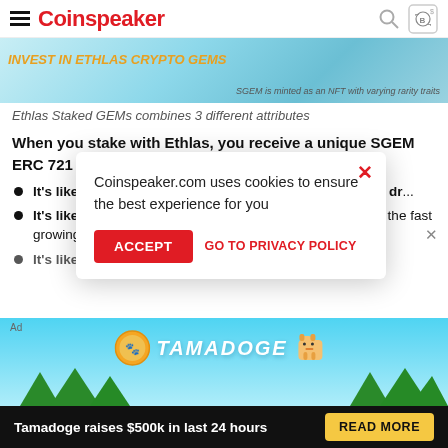Coinspeaker
[Figure (screenshot): Coinspeaker website banner showing a crypto/NFT advertisement with text 'SGEM is minted as an NFT with varying rarity traits']
Ethlas Staked GEMs combines 3 different attributes
When you stake with Ethlas, you receive a unique SGEM ERC 721 token:
It's like a Treasury bond but instead of interest, it is effectively dr...
It's like a TSLA stock option because you get upside exposure to the fast growing Ethlas e...
It's like a Crypto...
[Figure (screenshot): Cookie consent modal: 'Coinspeaker.com uses cookies to ensure the best experience for you' with ACCEPT and GO TO PRIVACY POLICY buttons]
[Figure (screenshot): Tamadoge advertisement banner: 'Tamadoge raises $500k in last 24 hours' with READ MORE button]